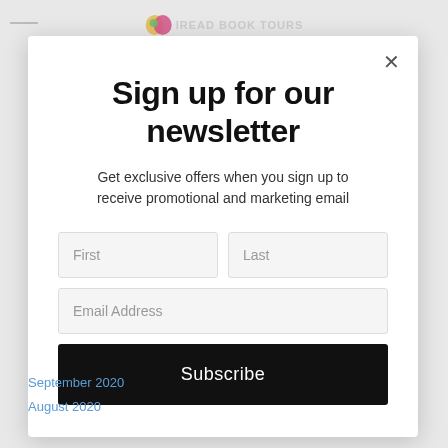[Figure (screenshot): Background webpage with logo and navigation, partially visible behind modal overlay]
Sign up for our newsletter
Get exclusive offers when you sign up to receive promotional and marketing email
First | Last | Email Address | Subscribe
September 2020
August 2020